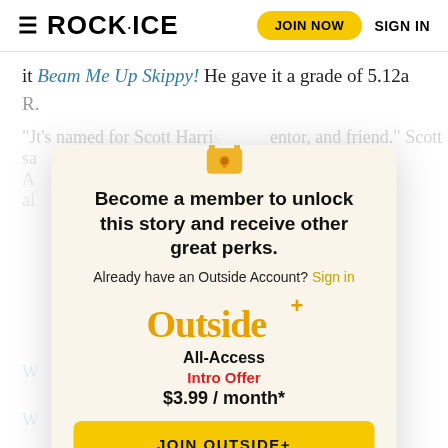ROCK·ICE | JOIN NOW | SIGN IN
it Beam Me Up Skippy! He gave it a grade of 5.12a R.
"It's named for Scott Harri[s...] entor, and friend." Scott sa[id...]
A[...] e al[...]
H[...]
[Figure (screenshot): Paywall modal overlay for Outside+ membership. Contains a lock icon, heading 'Become a member to unlock this story and receive other great perks.', sign-in prompt, Outside+ logo, All-Access plan, Intro Offer at $3.99/month*, and JOIN OUTSIDE+ button.]
W[...]
W[...]